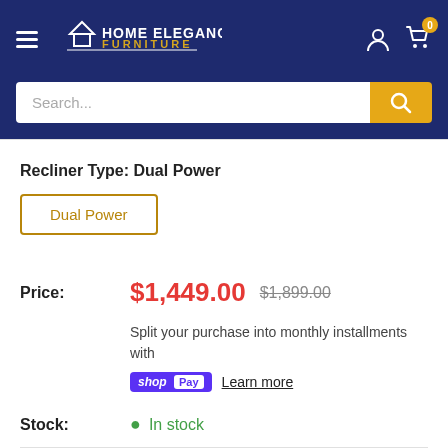[Figure (logo): Home Elegance Furniture logo with house icon, white and gold text on dark blue background, hamburger menu icon on left, user and cart icons on right with cart badge showing 0]
[Figure (screenshot): Search bar with placeholder text 'Search...' and gold search button with magnifying glass icon]
Recliner Type: Dual Power
Dual Power
Price: $1,449.00 $1,899.00
Split your purchase into monthly installments with
shop Pay Learn more
Stock: In stock